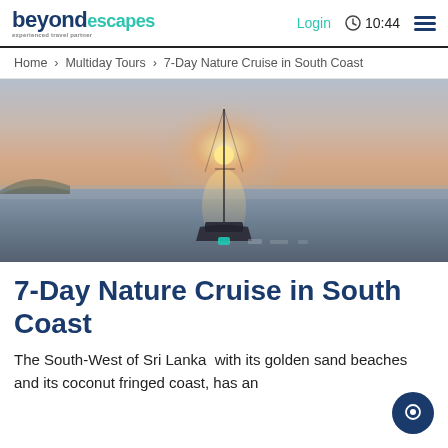beyond escapes | Login | 10:44
Home > Multiday Tours > 7-Day Nature Cruise in South Coast
[Figure (photo): Sailboat on calm ocean water at sunset, with the sun directly behind the mast creating a silhouette effect. Rocky coastline visible on left horizon. Hazy pastel sky.]
7-Day Nature Cruise in South Coast
The South-West of Sri Lanka  with its golden sand beaches and its coconut fringed coast, has an